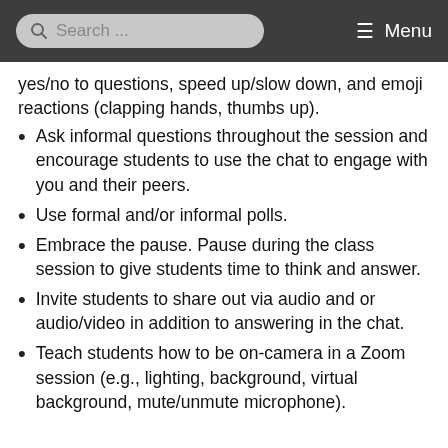Search ... Menu
yes/no to questions, speed up/slow down, and emoji reactions (clapping hands, thumbs up).
Ask informal questions throughout the session and encourage students to use the chat to engage with you and their peers.
Use formal and/or informal polls.
Embrace the pause. Pause during the class session to give students time to think and answer.
Invite students to share out via audio and or audio/video in addition to answering in the chat.
Teach students how to be on-camera in a Zoom session (e.g., lighting, background, virtual background, mute/unmute microphone).